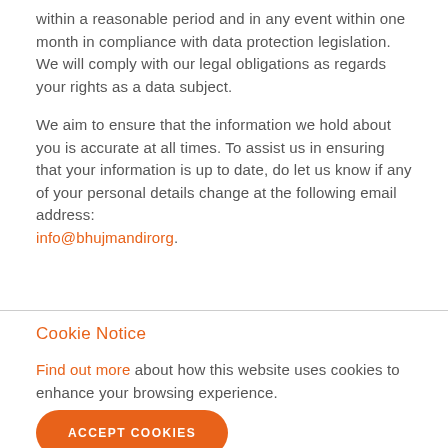within a reasonable period and in any event within one month in compliance with data protection legislation. We will comply with our legal obligations as regards your rights as a data subject.
We aim to ensure that the information we hold about you is accurate at all times. To assist us in ensuring that your information is up to date, do let us know if any of your personal details change at the following email address: info@bhujmandirorg.
Cookie Notice
Find out more about how this website uses cookies to enhance your browsing experience.
ACCEPT COOKIES